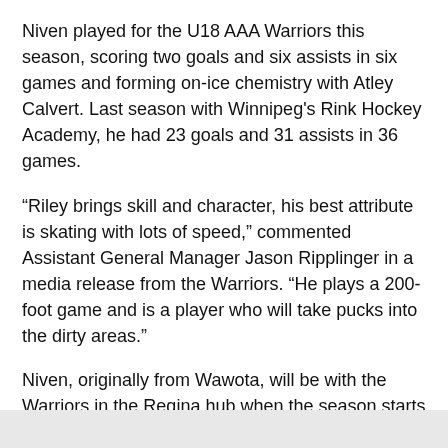Niven played for the U18 AAA Warriors this season, scoring two goals and six assists in six games and forming on-ice chemistry with Atley Calvert. Last season with Winnipeg's Rink Hockey Academy, he had 23 goals and 31 assists in 36 games.
“Riley brings skill and character, his best attribute is skating with lots of speed,” commented Assistant General Manager Jason Ripplinger in a media release from the Warriors. “He plays a 200-foot game and is a player who will take pucks into the dirty areas.”
Niven, originally from Wawota, will be with the Warriors in the Regina hub when the season starts March 12.
The Warriors have dealt forward Peyton McKenzie to the Kamloops Blazers for a sixth-round bantam draft pick this year.